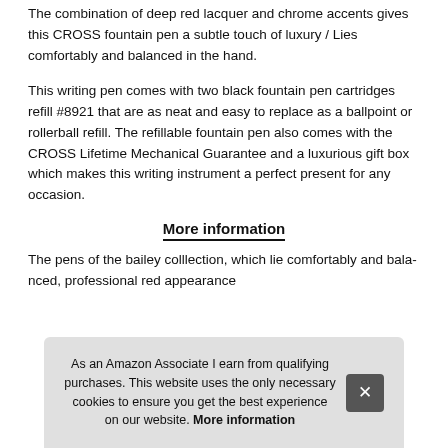The combination of deep red lacquer and chrome accents gives this CROSS fountain pen a subtle touch of luxury / Lies comfortably and balanced in the hand.
This writing pen comes with two black fountain pen cartridges refill #8921 that are as neat and easy to replace as a ballpoint or rollerball refill. The refillable fountain pen also comes with the CROSS Lifetime Mechanical Guarantee and a luxurious gift box which makes this writing instrument a perfect present for any occasion.
More information
The pens of the bailey colllection, which lie comfortably and bala… prof… red… app…
As an Amazon Associate I earn from qualifying purchases. This website uses the only necessary cookies to ensure you get the best experience on our website. More information